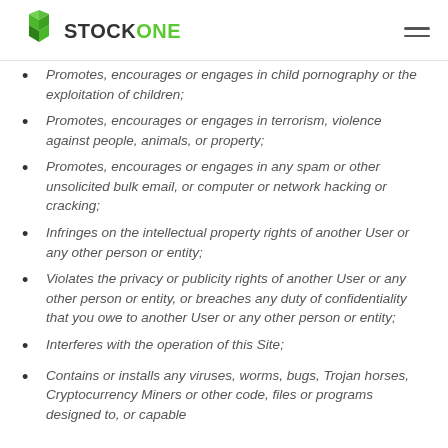STOCKONE
Promotes, encourages or engages in child pornography or the exploitation of children;
Promotes, encourages or engages in terrorism, violence against people, animals, or property;
Promotes, encourages or engages in any spam or other unsolicited bulk email, or computer or network hacking or cracking;
Infringes on the intellectual property rights of another User or any other person or entity;
Violates the privacy or publicity rights of another User or any other person or entity, or breaches any duty of confidentiality that you owe to another User or any other person or entity;
Interferes with the operation of this Site;
Contains or installs any viruses, worms, bugs, Trojan horses, Cryptocurrency Miners or other code, files or programs designed to, or capable